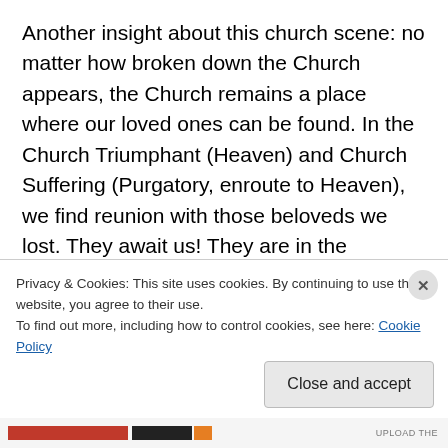Another insight about this church scene: no matter how broken down the Church appears, the Church remains a place where our loved ones can be found. In the Church Triumphant (Heaven) and Church Suffering (Purgatory, enroute to Heaven), we find reunion with those beloveds we lost. They await us! They are in the Father's home and they are waiting; we only have to go to the Church to find them. The Church is the family of God, the body of the Lord. So next time you are at Holy Mass, realize that all Heaven is there with you. All the angels, all the saints, Almighty God is there with you, for you.
Privacy & Cookies: This site uses cookies. By continuing to use this website, you agree to their use.
To find out more, including how to control cookies, see here: Cookie Policy